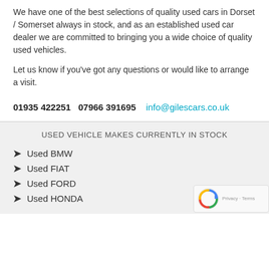We have one of the best selections of quality used cars in Dorset / Somerset always in stock, and as an established used car dealer we are committed to bringing you a wide choice of quality used vehicles.
Let us know if you've got any questions or would like to arrange a visit.
01935 422251   07966 391695   info@gilescars.co.uk
USED VEHICLE MAKES CURRENTLY IN STOCK
Used BMW
Used FIAT
Used FORD
Used HONDA